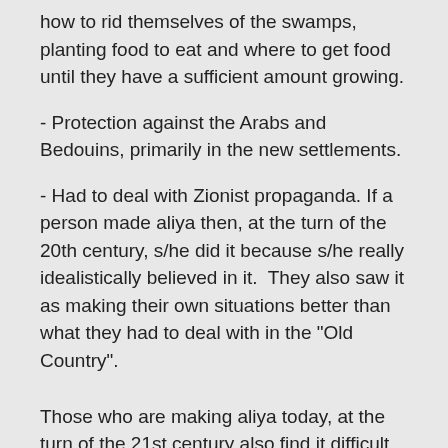how to rid themselves of the swamps, planting food to eat and where to get food until they have a sufficient amount growing.
- Protection against the Arabs and Bedouins, primarily in the new settlements.
- Had to deal with Zionist propaganda. If a person made aliya then, at the turn of the 20th century, s/he did it because s/he really idealistically believed in it.  They also saw it as making their own situations better than what they had to deal with in the "Old Country".
Those who are making aliya today, at the turn of the 21st century also find it difficult, but in a very different way.  The difficulties today's Jews find in making aliya include: